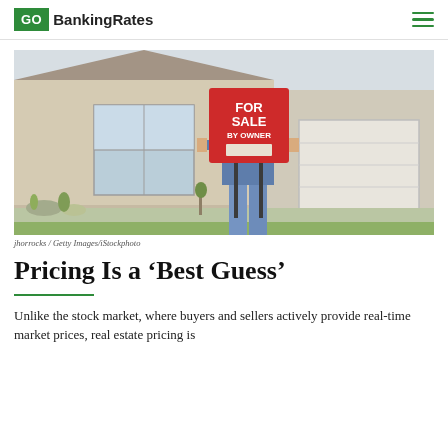GO BankingRates
[Figure (photo): Person holding a red 'FOR SALE BY OWNER' sign in front of a suburban home, obscuring their face. Desert landscaping visible.]
jhorrocks / Getty Images/iStockphoto
Pricing Is a ‘Best Guess’
Unlike the stock market, where buyers and sellers actively provide real-time market prices, real estate pricing is